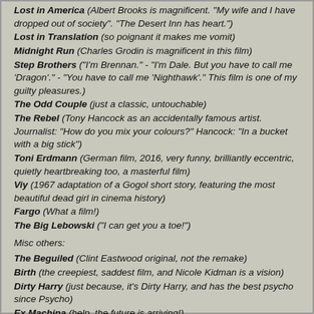Lost in America (Albert Brooks is magnificent. "My wife and I have dropped out of society". "The Desert Inn has heart.")
Lost in Translation (so poignant it makes me vomit)
Midnight Run (Charles Grodin is magnificent in this film)
Step Brothers ("I'm Brennan." - "I'm Dale. But you have to call me 'Dragon'." - "You have to call me 'Nighthawk'." This film is one of my guilty pleasures.)
The Odd Couple (just a classic, untouchable)
The Rebel (Tony Hancock as an accidentally famous artist. Journalist: "How do you mix your colours?" Hancock: "In a bucket with a big stick")
Toni Erdmann (German film, 2016, very funny, brilliantly eccentric, quietly heartbreaking too, a masterful film)
Viy (1967 adaptation of a Gogol short story, featuring the most beautiful dead girl in cinema history)
Fargo (What a film!)
The Big Lebowski ("I can get you a toe!")
Misc others:
The Beguiled (Clint Eastwood original, not the remake)
Birth (the creepiest, saddest film, and Nicole Kidman is a vision)
Dirty Harry (just because, it's Dirty Harry, and has the best psycho since Psycho)
Ex Machina (help, the future is arriving!)
House of Sand and Fog (Jennifer Connelly at her moody best)
L'Apollonide (this is luxury)
Valerie and Her Week of Wonders (I wish the world were really like this film)